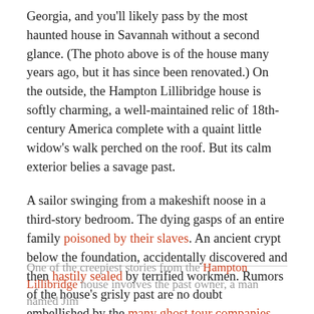Georgia, and you'll likely pass by the most haunted house in Savannah without a second glance. (The photo above is of the house many years ago, but it has since been renovated.) On the outside, the Hampton Lillibridge house is softly charming, a well-maintained relic of 18th-century America complete with a quaint little widow's walk perched on the roof. But its calm exterior belies a savage past.
A sailor swinging from a makeshift noose in a third-story bedroom. The dying gasps of an entire family poisoned by their slaves. An ancient crypt below the foundation, accidentally discovered and then hastily sealed by terrified workmen. Rumors of the house's grisly past are no doubt embellished by the many ghost tour companies that pepper Savannah, but visitors today still claim to feel an unearthly chill when they cross the threshold.
One of the creepiest stories from the Hampton Lillibridge house involves the past owner, a man named Jim